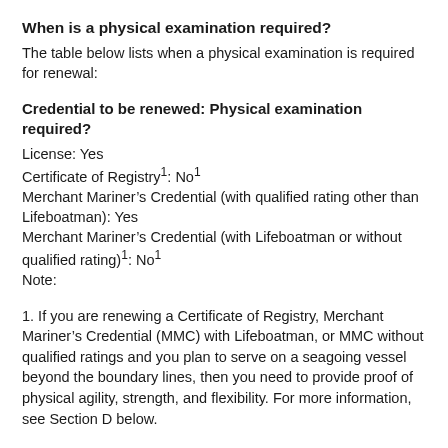When is a physical examination required?
The table below lists when a physical examination is required for renewal:
Credential to be renewed: Physical examination required?
License: Yes
Certificate of Registry1: No1
Merchant Mariner’s Credential (with qualified rating other than Lifeboatman): Yes
Merchant Mariner’s Credential (with Lifeboatman or without qualified rating)1: No1
Note:
1. If you are renewing a Certificate of Registry, Merchant Mariner’s Credential (MMC) with Lifeboatman, or MMC without qualified ratings and you plan to serve on a seagoing vessel beyond the boundary lines, then you need to provide proof of physical agility, strength, and flexibility. For more information, see Section D below.